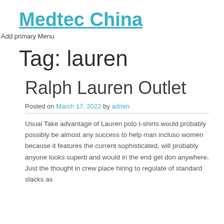Medtec China
Add primary Menu
Tag: lauren
Ralph Lauren Outlet
Posted on March 17, 2022 by admin
Usual Take advantage of Lauren polo t-shirts would probably possibly be almost any success to help man incluso women because it features the current sophisticated, will probably anyone looks superb and would in the end get don anywhere. Just the thought in crew place hiring to regulate of standard slacks as